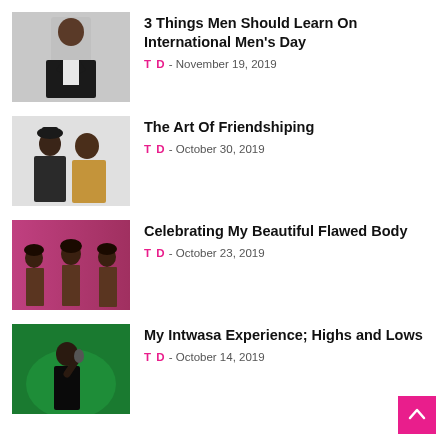[Figure (photo): Man in black suit standing against grey background]
3 Things Men Should Learn On International Men's Day
T D - November 19, 2019
[Figure (photo): Two men posing together against white background]
The Art Of Friendshiping
T D - October 30, 2019
[Figure (photo): Three women against pink gradient background]
Celebrating My Beautiful Flawed Body
T D - October 23, 2019
[Figure (photo): Person singing with mic against green background]
My Intwasa Experience; Highs and Lows
T D - October 14, 2019